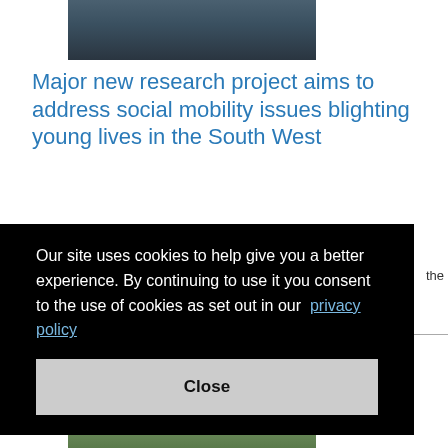[Figure (photo): Students in a classroom, viewed from behind]
Major new research project aims to address social mobility issues blighting young lives in the South West
A major new research project will seek to highlight and
Our site uses cookies to help give you a better experience. By continuing to use it you consent to the use of cookies as set out in our privacy policy
Close
[Figure (photo): Outdoor scene with plants/foliage]